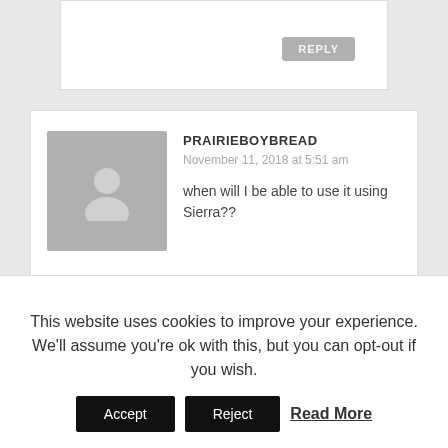REPLY
PRAIRIEBOYBREAD
November 11, 2018 at 5:51 am
when will I be able to use it using Sierra??
REPLY
ADMIN
November 11, 2018 at 10:51 am
This website uses cookies to improve your experience. We'll assume you're ok with this, but you can opt-out if you wish.
Accept
Reject
Read More